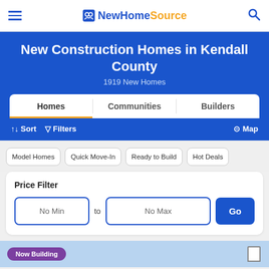NewHomeSource navigation bar with hamburger menu, logo, and search icon
New Construction Homes in Kendall County
1919 New Homes
Homes | Communities | Builders
↑↓ Sort  ▽ Filters  ⊙ Map
Model Homes
Quick Move-In
Ready to Build
Hot Deals
Price Filter
No Min  to  No Max  Go
Now Building